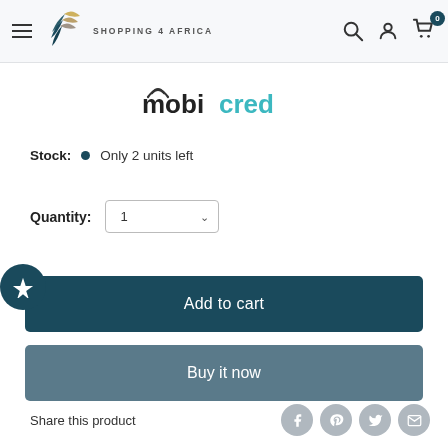[Figure (logo): Shopping 4 Africa logo with golden wing/bird graphic and text 'SHOPPING 4 AFRICA']
[Figure (logo): Mobicred payment logo - black 'mobi' and teal 'cred' text with wifi signal arc above the 'm']
Stock: • Only 2 units left
Quantity: 1
Add to cart
Buy it now
Share this product